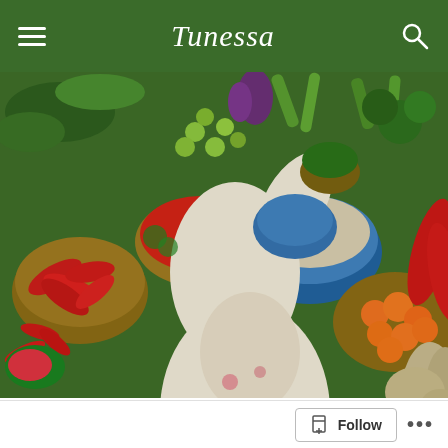Tunessa
[Figure (photo): Overhead view of a colorful market stall with a vendor in white and pink clothing surrounded by abundant fresh vegetables, fruits, chili peppers, spices, and herbs arranged in baskets and piles.]
Precious Persons...
Follow ...